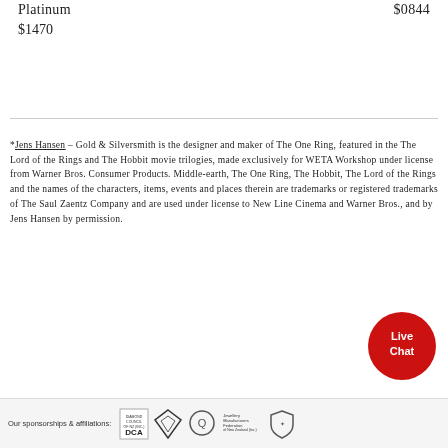Platinum   $0844
$1470
*Jens Hansen – Gold & Silversmith is the designer and maker of The One Ring, featured in the The Lord of the Rings and The Hobbit movie trilogies, made exclusively for WETA Workshop under license from Warner Bros. Consumer Products. Middle-earth, The One Ring, The Hobbit, The Lord of the Rings and the names of the characters, items, events and places therein are trademarks or registered trademarks of The Saul Zaentz Company and are used under license to New Line Cinema and Warner Bros., and by Jens Hansen by permission.
[Figure (logo): Live Chat red circle button with speech bubble]
Our sponsorships & affiliations: [Diamond Council of NZ, JANZ, circle Q logo, Jewellery Manufacturers Federation of New Zealand logo, shield logo]